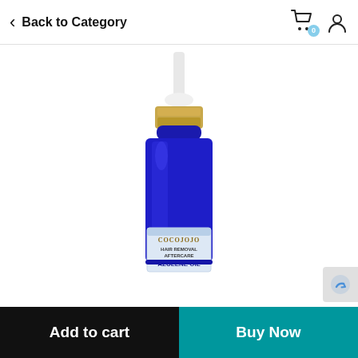Back to Category
[Figure (photo): A blue glass pump bottle with gold and white pump top, labeled COCOJOJO HAIR REMOVAL AFTERCARE AZULENE OIL]
Add to cart
Buy Now